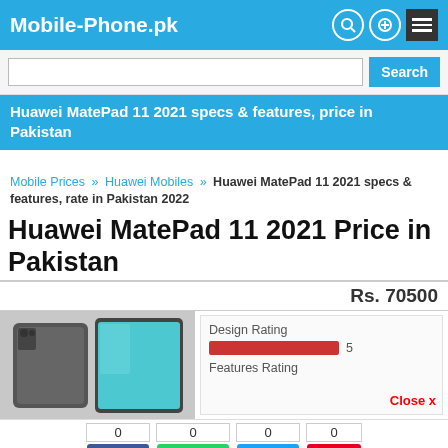Mobile-Phone.pk
Search
Huawei MatePad 11 2021 specs & features, price in Pakistan
Mobile Prices » Huawei Mobiles » Huawei MatePad 11 2021 specs & features, rate in Pakistan 2022
Huawei MatePad 11 2021 Price in Pakistan
Rs. 70500
[Figure (photo): Huawei MatePad 11 2021 tablet device image showing front and back view]
Design Rating 5
Features Rating
Close x
0
Share
0
WhatsApp
0
Tweet
0
Pin
Latest Mobiles | Samsung | Huawei | Vivo | Infinix | Honor | Oppo | Realme | Tecno